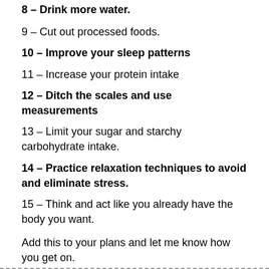8 – Drink more water.
9 – Cut out processed foods.
10 – Improve your sleep patterns
11 – Increase your protein intake
12 – Ditch the scales and use measurements
13 – Limit your sugar and starchy carbohydrate intake.
14 – Practice relaxation techniques to avoid and eliminate stress.
15 – Think and act like you already have the body you want.
Add this to your plans and let me know how you get on.